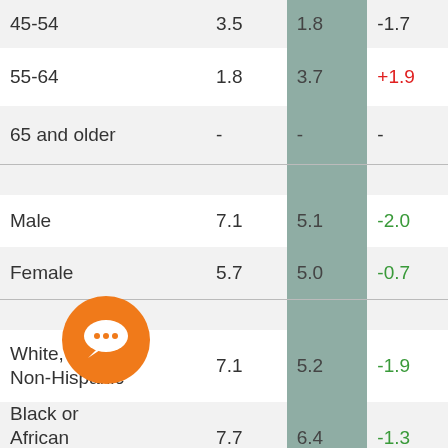| 45-54 | 3.5 | 1.8 | -1.7 |
| 55-64 | 1.8 | 3.7 | +1.9 |
| 65 and older | - | - | - |
|  |  |  |  |
| Male | 7.1 | 5.1 | -2.0 |
| Female | 5.7 | 5.0 | -0.7 |
|  |  |  |  |
| White, Anglo, Non-Hispanic | 7.1 | 5.2 | -1.9 |
| Black or African American | 7.7 | 6.4 | -1.3 |